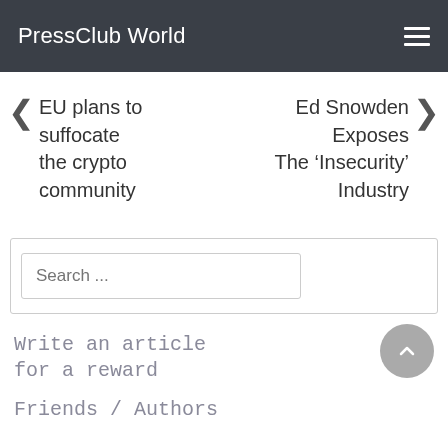PressClub World
EU plans to suffocate the crypto community
Ed Snowden Exposes The ‘Insecurity’ Industry
Search ...
Write an article for a reward
Friends / Authors